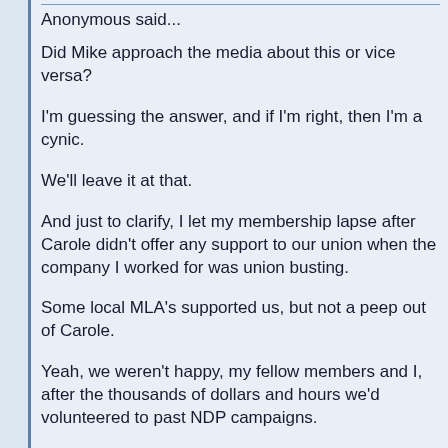Anonymous said...
Did Mike approach the media about this or vice versa?
I'm guessing the answer, and if I'm right, then I'm a cynic.
We'll leave it at that.
And just to clarify, I let my membership lapse after Carole didn't offer any support to our union when the company I worked for was union busting.
Some local MLA's supported us, but not a peep out of Carole.
Yeah, we weren't happy, my fellow members and I, after the thousands of dollars and hours we'd volunteered to past NDP campaigns.